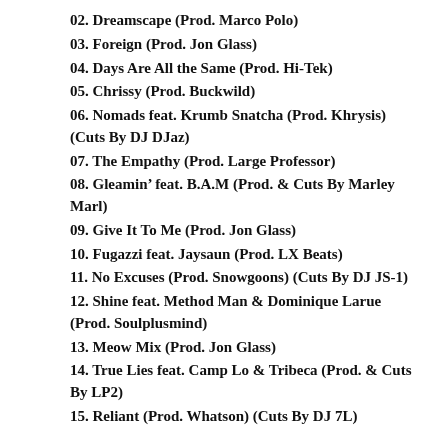02. Dreamscape (Prod. Marco Polo)
03. Foreign (Prod. Jon Glass)
04. Days Are All the Same (Prod. Hi-Tek)
05. Chrissy (Prod. Buckwild)
06. Nomads feat. Krumb Snatcha (Prod. Khrysis) (Cuts By DJ DJaz)
07. The Empathy (Prod. Large Professor)
08. Gleamin’ feat. B.A.M (Prod. & Cuts By Marley Marl)
09. Give It To Me (Prod. Jon Glass)
10. Fugazzi feat. Jaysaun (Prod. LX Beats)
11. No Excuses (Prod. Snowgoons) (Cuts By DJ JS-1)
12. Shine feat. Method Man & Dominique Larue (Prod. Soulplusmind)
13. Meow Mix (Prod. Jon Glass)
14. True Lies feat. Camp Lo & Tribeca (Prod. & Cuts By LP2)
15. Reliant (Prod. Whatson) (Cuts By DJ 7L)